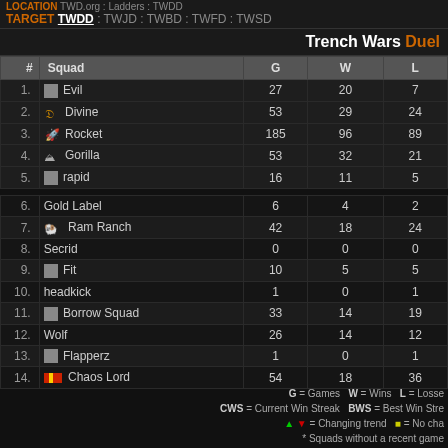LOCATION TWD.org : Ladders : TWDD
TARGET TWDD : TWJD : TWBD : TWFD : TWSD
Trench Wars Duel
| # | Squad | G | W | L |
| --- | --- | --- | --- | --- |
| 1. | Evil | 27 | 20 | 7 |
| 2. | Divine | 53 | 29 | 24 |
| 3. | Rocket | 185 | 96 | 89 |
| 4. | Gorilla | 53 | 32 | 21 |
| 5. | rapid | 16 | 11 | 5 |
| 6. | Gold Label | 6 | 4 | 2 |
| 7. | Ram Ranch | 42 | 18 | 24 |
| 8. | Secrid | 0 | 0 | 0 |
| 9. | Fit | 10 | 5 | 5 |
| 10. | headkick | 1 | 0 | 1 |
| 11. | Borrow Squad | 33 | 14 | 19 |
| 12. | Wolf | 26 | 14 | 12 |
| 13. | Flapperz | 1 | 0 | 1 |
| 14. | Chaos Lord | 54 | 18 | 36 |
G = Games   W = Wins   L = Losses   CWS = Current Win Streak   BWS = Best Win Streak   ↑ ↓ = Changing trend   ■ = No change   * Squads without a recent game